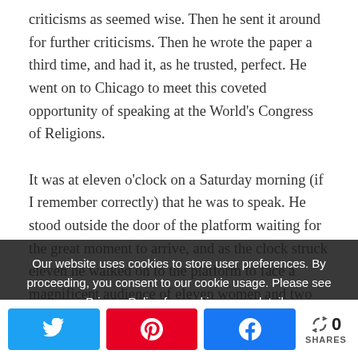criticisms as seemed wise. Then he sent it around for further criticisms. Then he wrote the paper a third time, and had it, as he trusted, perfect. He went on to Chicago to meet this coveted opportunity of speaking at the World's Congress of Religions.

It was at eleven o'clock on a Saturday morning (if I remember correctly) that he was to speak. He stood outside the door of the platform waiting for the great moment to arrive, and as the clock struck eleven he walked on to the platform to face a magnificent audience of eleven women and two men! But there was not a building anywhere in Chicago that would accommodate the very same day the crowds that would flock to hear Mr. Moody at any hour of the day or night.
Our website uses cookies to store user preferences. By proceeding, you consent to our cookie usage. Please see our Privacy Policy for cookie usage details.